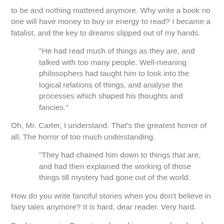to be and nothing mattered anymore. Why write a book no one will have money to buy or energy to read? I became a fatalist, and the key to dreams slipped out of my hands.
"He had read much of things as they are, and talked with too many people. Well-meaning philosophers had taught him to look into the logical relations of things, and analyse the processes which shaped his thoughts and fancies."
Oh, Mr. Carter, I understand. That's the greatest horror of all. The horror of too much understanding.
"They had chained him down to things that are, and had then explained the working of those things till mystery had gone out of the world.
How do you write fanciful stories when you don't believe in fairy tales anymore? It is hard, dear reader. Very hard.
Doubt creeps in. Every typed word is over-analyzed and sterilized to correctness. Have I provided enough